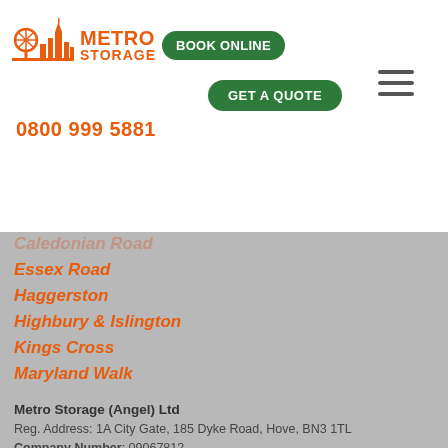Metro Storage - BOOK ONLINE - GET A QUOTE
0800 999 5881
Caledonian Road
Essex Road
Haggerston
Highbury & Islington
Kings Cross
Maryland Walk
Metro Storage (Angel) Ltd
Reg. Address: 1A City Gate, 185 Dyke Road, Hove, BN3 1TL
Company Number: 09067812
Place of Registration: London, England
Contact Number: 0845 505 5881